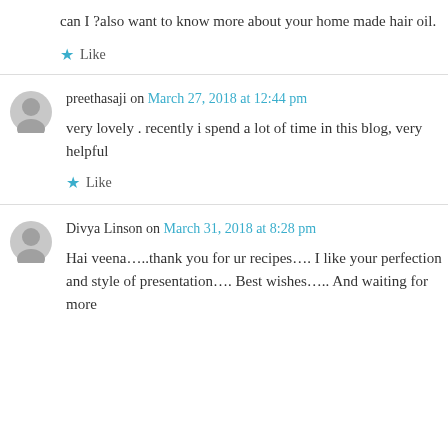can I ?also want to know more about your home made hair oil.
★ Like
preethasaji on March 27, 2018 at 12:44 pm
very lovely . recently i spend a lot of time in this blog, very helpful
★ Like
Divya Linson on March 31, 2018 at 8:28 pm
Hai veena…..thank you for ur recipes…. I like your perfection and style of presentation…. Best wishes….. And waiting for more